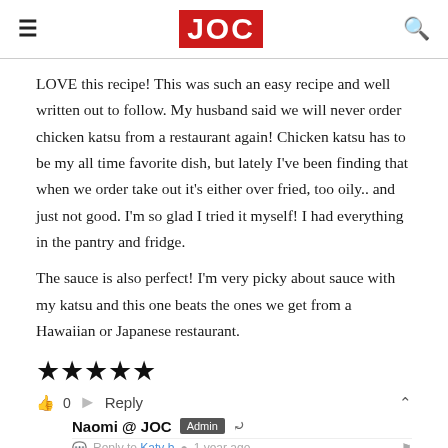JOC (logo)
LOVE this recipe! This was such an easy recipe and well written out to follow. My husband said we will never order chicken katsu from a restaurant again! Chicken katsu has to be my all time favorite dish, but lately I've been finding that when we order take out it's either over fried, too oily.. and just not good. I'm so glad I tried it myself! I had everything in the pantry and fridge.
The sauce is also perfect! I'm very picky about sauce with my katsu and this one beats the ones we get from a Hawaiian or Japanese restaurant.
[Figure (other): 5 filled black star rating icons]
0  Reply  Naomi @ JOC  Admin
Reply to Katy b  1 year ago
Hi Katy! We are glad to hear you enjoyed homemade Chicken